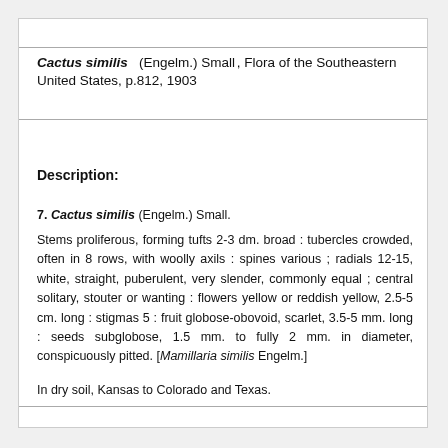Cactus similis (Engelm.) Small, Flora of the Southeastern United States, p.812, 1903
Description:
7. Cactus similis (Engelm.) Small.
Stems proliferous, forming tufts 2-3 dm. broad : tubercles crowded, often in 8 rows, with woolly axils : spines various ; radials 12-15, white, straight, puberulent, very slender, commonly equal ; central solitary, stouter or wanting : flowers yellow or reddish yellow, 2.5-5 cm. long : stigmas 5 : fruit globose-obovoid, scarlet, 3.5-5 mm. long : seeds subglobose, 1.5 mm. to fully 2 mm. in diameter, conspicuously pitted. [Mamillaria similis Engelm.]
In dry soil, Kansas to Colorado and Texas.